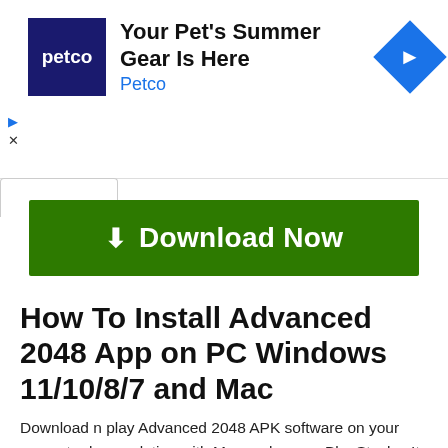[Figure (other): Petco advertisement banner with logo, text 'Your Pet's Summer Gear Is Here / Petco', and blue diamond arrow icon]
[Figure (other): Green Download Now button with download arrow icon]
How To Install Advanced 2048 App on PC Windows 11/10/8/7 and Mac
Download n play Advanced 2048 APK software on your computer by emulating with Memu player or BlueStacks. It is free to run Advanced 2048 software on Windows 11, 10, 8, 7, Laptops, and Apple macOS
1. Choose the best emulator from below
2. ...